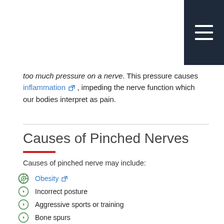[Navigation menu icon]
too much pressure on a nerve. This pressure causes inflammation, impeding the nerve function which our bodies interpret as pain.
Causes of Pinched Nerves
Causes of pinched nerve may include:
Obesity
Incorrect posture
Aggressive sports or training
Bone spurs
Trauma/injury
Thyroid conditions
Diabetes